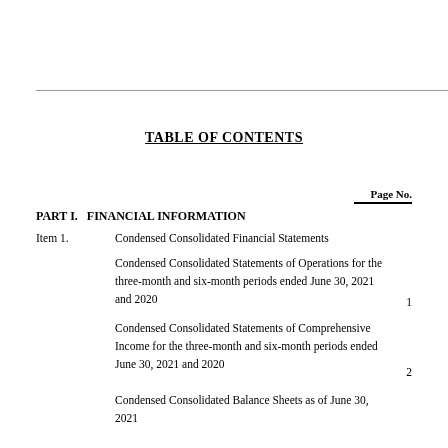TABLE OF CONTENTS
Page No.
PART I.  FINANCIAL INFORMATION
Item 1.  Condensed Consolidated Financial Statements
Condensed Consolidated Statements of Operations for the three-month and six-month periods ended June 30, 2021 and 2020   1
Condensed Consolidated Statements of Comprehensive Income for the three-month and six-month periods ended June 30, 2021 and 2020   2
Condensed Consolidated Balance Sheets as of June 30, 2021